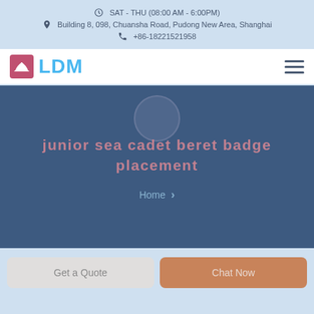SAT - THU (08:00 AM - 6:00PM)
Building 8, 098, Chuansha Road, Pudong New Area, Shanghai
+86-18221521958
[Figure (logo): LDM logo with sailboat icon in pink/red square and blue LDM text, hamburger menu icon on right]
junior sea cadet beret badge placement
Home >